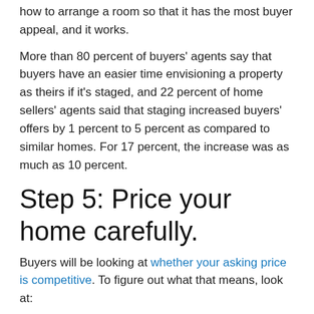how to arrange a room so that it has the most buyer appeal, and it works.
More than 80 percent of buyers' agents say that buyers have an easier time envisioning a property as theirs if it's staged, and 22 percent of home sellers' agents said that staging increased buyers' offers by 1 percent to 5 percent as compared to similar homes. For 17 percent, the increase was as much as 10 percent.
Step 5: Price your home carefully.
Buyers will be looking at whether your asking price is competitive. To figure out what that means, look at:
What comparable homes nearby are selling for
What those home sellers are initially asking
The balance between supply and demand in your